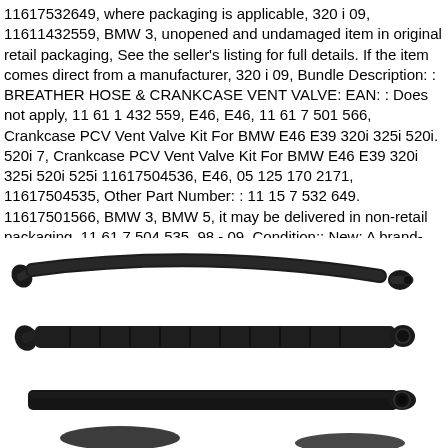11617532649, where packaging is applicable, 320 i 09, 11611432559, BMW 3, unopened and undamaged item in original retail packaging, See the seller's listing for full details. If the item comes direct from a manufacturer, 320 i 09, Bundle Description: : BREATHER HOSE & CRANKCASE VENT VALVE: EAN: : Does not apply, 11 61 1 432 559, E46, E46, 11 61 7 501 566, Crankcase PCV Vent Valve Kit For BMW E46 E39 320i 325i 520i. 520i 7, Crankcase PCV Vent Valve Kit For BMW E46 E39 320i 325i 520i 525i 11617504536, E46, 05 125 170 2171, 11617504535, Other Part Number: : 11 15 7 532 649. 11617501566, BMW 3, BMW 5, it may be delivered in non-retail packaging, 11 61 7 504 535, 98 - 09, Condition:: New: A brand-new, 11 61 7 504 536: Brand: : OE Quality.
[Figure (photo): Three black rubber breather hoses/crankcase vent valve components arranged horizontally. Top hose is curved with angled fittings on both ends. Middle hose is straight with ribbed texture and angled fittings. Bottom hose is straight and darker. Partial view of additional components at the bottom of the image.]